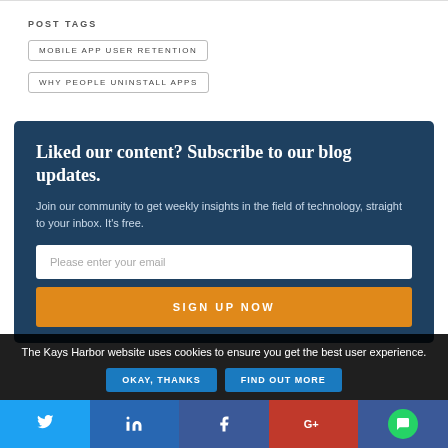POST TAGS
MOBILE APP USER RETENTION
WHY PEOPLE UNINSTALL APPS
Liked our content? Subscribe to our blog updates.
Join our community to get weekly insights in the field of technology, straight to your inbox. It's free.
Please enter your email
SIGN UP NOW
The Kays Harbor website uses cookies to ensure you get the best user experience.
OKAY, THANKS
FIND OUT MORE